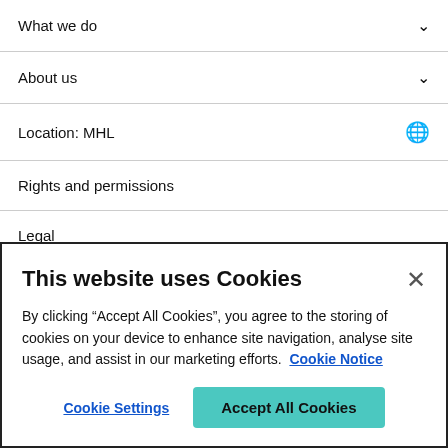What we do
About us
Location: MHL
Rights and permissions
Legal
Privacy
Modern slavery
This website uses Cookies
By clicking “Accept All Cookies”, you agree to the storing of cookies on your device to enhance site navigation, analyse site usage, and assist in our marketing efforts.  Cookie Notice
Cookie Settings
Accept All Cookies